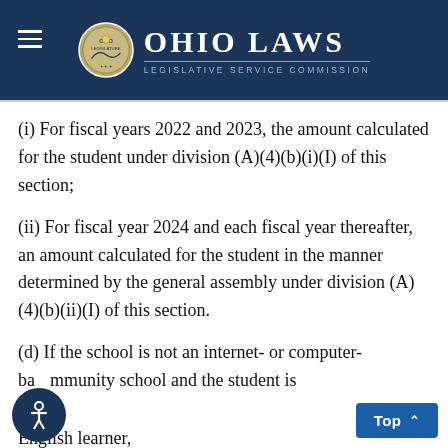Ohio Laws — Legislative Service Commission
(i) For fiscal years 2022 and 2023, the amount calculated for the student under division (A)(4)(b)(i)(I) of this section;
(ii) For fiscal year 2024 and each fiscal year thereafter, an amount calculated for the student in the manner determined by the general assembly under division (A)(4)(b)(ii)(I) of this section.
(d) If the school is not an internet- or computer-based community school and the student is an English learner,